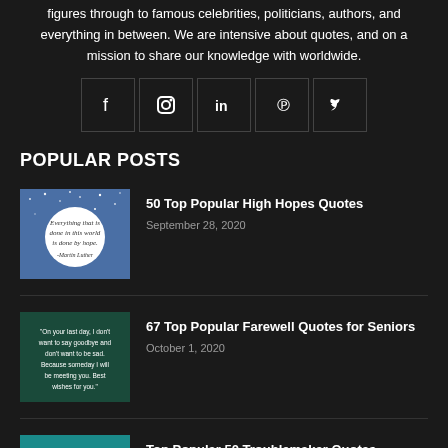figures through to famous celebrities, politicians, authors, and everything in between. We are intensive about quotes, and on a mission to share our knowledge with worldwide.
[Figure (infographic): Social media icons: Facebook, Instagram, LinkedIn, Pinterest, Twitter in square bordered boxes]
POPULAR POSTS
[Figure (photo): Blue starry background with white circle containing quote: Everything that is done in this world is done by hope. -Martin Luther]
50 Top Popular High Hopes Quotes
September 28, 2020
[Figure (photo): Dark teal background with white text: On your last day, I don't want to say goodbye and don't want to be sad. Because someday I will be meeting you. Best wishes for you.]
67 Top Popular Farewell Quotes for Seniors
October 1, 2020
[Figure (photo): Teal background with illustrated character and text: I don't do anything to cause trouble, I just so happen that what I do naturally causes trouble. I'm proud to be a troublemaker.]
Top Popular 50 Troublemaker Quotes
May 26, 2021